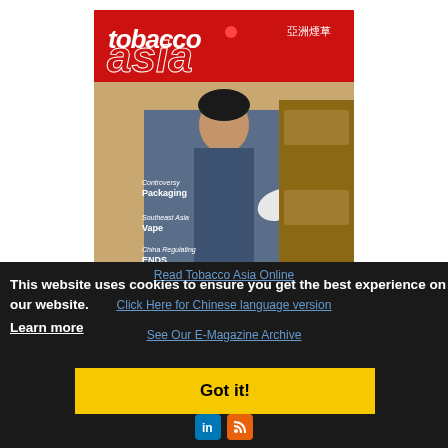[Figure (photo): Cover of Tobacco Asia magazine featuring a man in blue uniform with gloves examining cigarette packs in wooden drawers. Red 'tobacco asia' logo with Chinese characters at top. Headlines mention Packaging, Southeast Asia, Vape, China Regulating ENDS, Hypocrisy, cross supply. Website www.tobaccoasia.com at bottom.]
Read Tobacco Asia Online
Click Here for Chinese language version
See Our E-Magazine Archive
This website uses cookies to ensure you get the best experience on our website.
Learn more
Got it!
Advertising Opportunities | Contact Us |